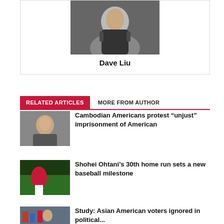[Figure (photo): Headshot photo of Dave Liu in a dark suit]
Dave Liu
RELATED ARTICLES   MORE FROM AUTHOR
[Figure (photo): Photo of a woman with dark hair, outdoors]
Cambodian Americans protest “unjust” imprisonment of American
[Figure (photo): Photo of Shohei Ohtani in baseball uniform]
Shohei Ohtani’s 30th home run sets a new baseball milestone
[Figure (photo): Photo of people at a political event with flags]
Study: Asian American voters ignored in political...